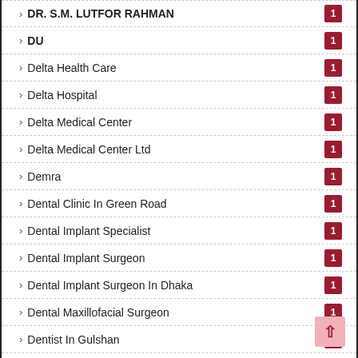DR. S.M. LUTFOR RAHMAN  1
DU  1
Delta Health Care  1
Delta Hospital  1
Delta Medical Center  1
Delta Medical Center Ltd  1
Demra  1
Dental Clinic In Green Road  1
Dental Implant Specialist  1
Dental Implant Surgeon  1
Dental Implant Surgeon In Dhaka  1
Dental Maxillofacial Surgeon  1
Dentist In Gulshan  1